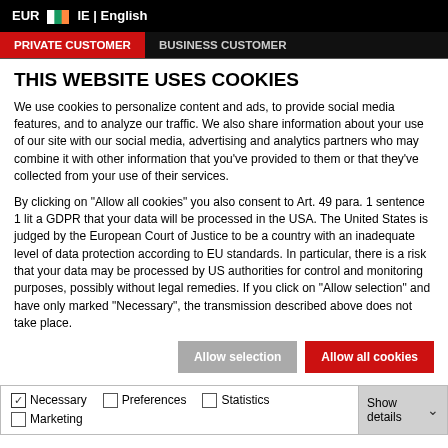EUR  IE | English
PRIVATE CUSTOMER   BUSINESS CUSTOMER
THIS WEBSITE USES COOKIES
We use cookies to personalize content and ads, to provide social media features, and to analyze our traffic. We also share information about your use of our site with our social media, advertising and analytics partners who may combine it with other information that you've provided to them or that they've collected from your use of their services.
By clicking on "Allow all cookies" you also consent to Art. 49 para. 1 sentence 1 lit a GDPR that your data will be processed in the USA. The United States is judged by the European Court of Justice to be a country with an inadequate level of data protection according to EU standards. In particular, there is a risk that your data may be processed by US authorities for control and monitoring purposes, possibly without legal remedies. If you click on "Allow selection" and have only marked "Necessary", the transmission described above does not take place.
Allow selection   Allow all cookies
Necessary   Preferences   Statistics   Marketing   Show details